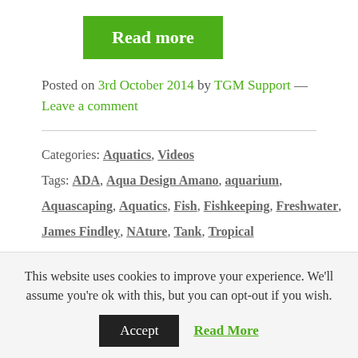Read more
Posted on 3rd October 2014 by TGM Support — Leave a comment
Categories: Aquatics, Videos
Tags: ADA, Aqua Design Amano, aquarium, Aquascaping, Aquatics, Fish, Fishkeeping, Freshwater, James Findley, NAture, Tank, Tropical
This website uses cookies to improve your experience. We'll assume you're ok with this, but you can opt-out if you wish.
Accept   Read More